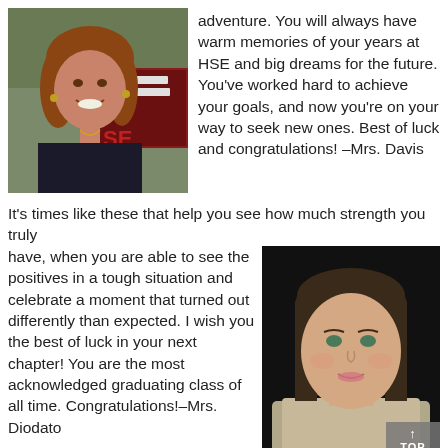[Figure (photo): Smiling woman with brown hair in front of a school banner/sign outdoors]
adventure. You will always have warm memories of your years at HSE and big dreams for the future. You've worked hard to achieve your goals, and now you're on your way to seek new ones. Best of luck and congratulations! –Mrs. Davis
It's times like these that help you see how much strength you truly have, when you are able to see the positives in a tough situation and celebrate a moment that turned out differently than expected. I wish you the best of luck in your next chapter! You are the most acknowledged graduating class of all time. Congratulations!–Mrs. Diodato
[Figure (photo): Smiling woman with dark brown straight hair against a dark background]
The ending to your senior year may not